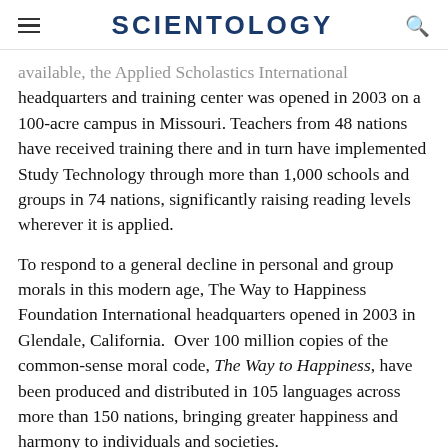SCIENTOLOGY
available, the Applied Scholastics International headquarters and training center was opened in 2003 on a 100-acre campus in Missouri. Teachers from 48 nations have received training there and in turn have implemented Study Technology through more than 1,000 schools and groups in 74 nations, significantly raising reading levels wherever it is applied.
To respond to a general decline in personal and group morals in this modern age, The Way to Happiness Foundation International headquarters opened in 2003 in Glendale, California.  Over 100 million copies of the common-sense moral code, The Way to Happiness, have been produced and distributed in 105 languages across more than 150 nations, bringing greater happiness and harmony to individuals and societies.
In addition to these centers for social change, Mr.